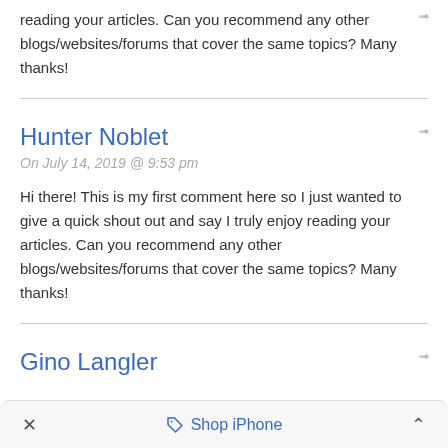reading your articles. Can you recommend any other blogs/websites/forums that cover the same topics? Many thanks!
Hunter Noblet
On July 14, 2019 @ 9:53 pm
Hi there! This is my first comment here so I just wanted to give a quick shout out and say I truly enjoy reading your articles. Can you recommend any other blogs/websites/forums that cover the same topics? Many thanks!
Gino Langler
Shop iPhone